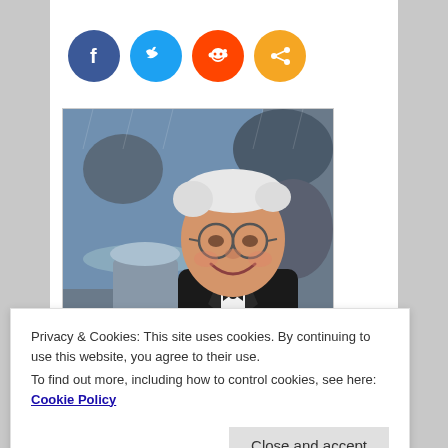[Figure (other): Social media share buttons: Facebook (blue), Twitter (light blue), Reddit (orange-red), Share (orange)]
[Figure (photo): Elderly man with white hair and glasses, wearing a dark suit jacket and bow tie, smiling. People with an umbrella visible in background.]
Privacy & Cookies: This site uses cookies. By continuing to use this website, you agree to their use.
To find out more, including how to control cookies, see here: Cookie Policy
Close and accept
Pink Floyd's The Wall, has died. He was 76 years